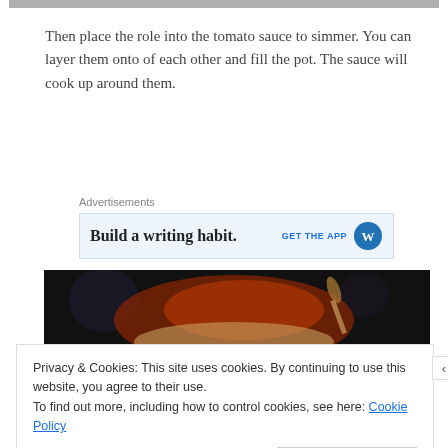[Figure (photo): Top portion of a food photo, partially visible at the top of the page]
Then place the role into the tomato sauce to simmer. You can layer them onto of each other and fill the pot. The sauce will cook up around them.
Advertisements
[Figure (screenshot): Advertisement banner reading 'Build a writing habit.' with 'GET THE APP' text and WordPress icon]
[Figure (photo): Dark food photography showing a bowl with tomato sauce and spoons]
Privacy & Cookies: This site uses cookies. By continuing to use this website, you agree to their use.
To find out more, including how to control cookies, see here: Cookie Policy
Close and accept